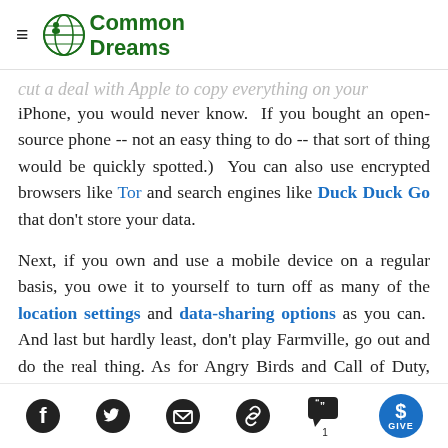Common Dreams
cut a deal with Apple to copy everything on your iPhone, you would never know. If you bought an open-source phone -- not an easy thing to do -- that sort of thing would be quickly spotted.) You can also use encrypted browsers like Tor and search engines like Duck Duck Go that don't store your data.
Next, if you own and use a mobile device on a regular basis, you owe it to yourself to turn off as many of the location settings and data-sharing options as you can. And last but hardly least, don't play Farmville, go out and do the real thing. As for Angry Birds and Call of Duty, honestly, instead of shooting pigs and people, it might be time to think about finding better ways to
Social share icons: Facebook, Twitter, Email, Link, Comments (1), Give